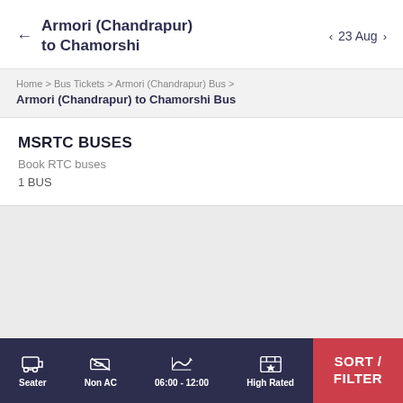Armori (Chandrapur) to Chamorshi | 23 Aug
Home > Bus Tickets > Armori (Chandrapur) Bus > Armori (Chandrapur) to Chamorshi Bus
MSRTC BUSES
Book RTC buses
1 BUS
Seater | Non AC | 06:00 - 12:00 | High Rated | SORT / FILTER